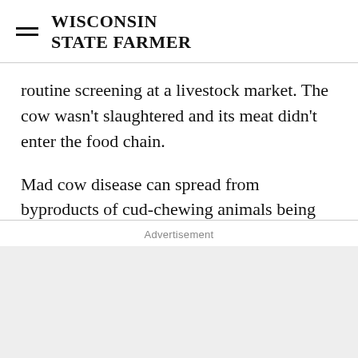WISCONSIN STATE FARMER
routine screening at a livestock market. The cow wasn't slaughtered and its meat didn't enter the food chain.
Mad cow disease can spread from byproducts of cud-chewing animals being used in feed, but the state says that's not what happened. The state is calling the discovery a "rare and spontaneous" case of the disease, which can occur in older animals.
Advertisement